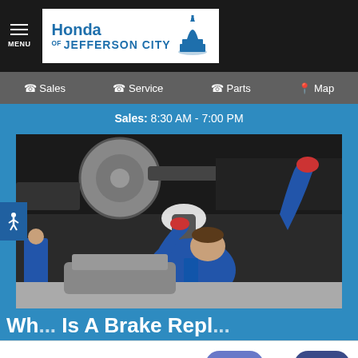Honda of Jefferson City
Sales  Service  Parts  Map
Sales: 8:30 AM - 7:00 PM
[Figure (photo): Mechanic in blue coveralls holding a work light, inspecting the underside of a vehicle on a lift. Brake rotor and suspension components visible above.]
Wh... Is A Brake Repl...ment
This site uses cookies
Chat  Text